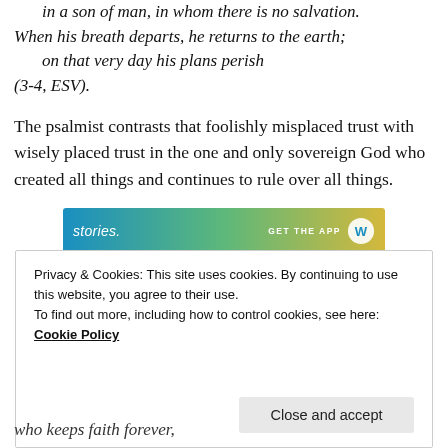Put not your trust in princes, in a son of man, in whom there is no salvation. When his breath departs, he returns to the earth; on that very day his plans perish (3-4, ESV).
The psalmist contrasts that foolishly misplaced trust with wisely placed trust in the one and only sovereign God who created all things and continues to rule over all things.
[Figure (infographic): Advertisement banner with gradient background (blue to yellow-green), text 'stories.' on left, 'GET THE APP' text and circular logo on right. 'REPORT THIS AD' text below.]
Privacy & Cookies: This site uses cookies. By continuing to use this website, you agree to their use.
To find out more, including how to control cookies, see here:
Cookie Policy
who keeps faith forever,